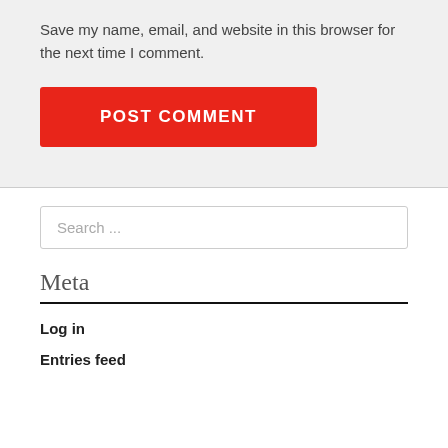Save my name, email, and website in this browser for the next time I comment.
[Figure (other): Red POST COMMENT button]
[Figure (other): Search input field with placeholder text 'Search ...']
Meta
Log in
Entries feed